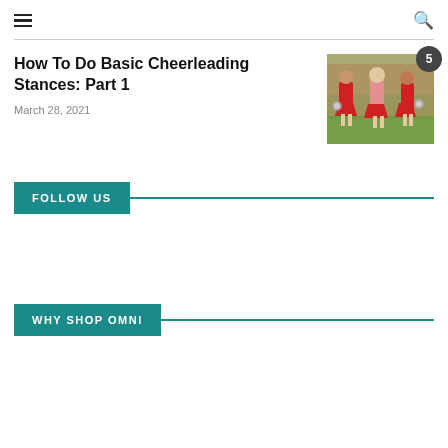☰ [menu] [search]
How To Do Basic Cheerleading Stances: Part 1
March 28, 2021
[Figure (photo): Three cheerleaders in red uniforms holding pom-poms, standing outdoors. A circular badge with the number 5 is in the top-right corner.]
FOLLOW US
WHY SHOP OMNI